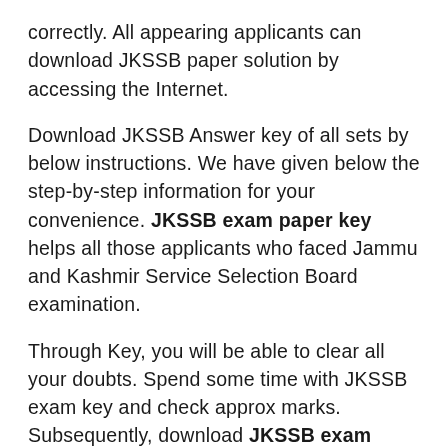correctly. All appearing applicants can download JKSSB paper solution by accessing the Internet.
Download JKSSB Answer key of all sets by below instructions. We have given below the step-by-step information for your convenience. JKSSB exam paper key helps all those applicants who faced Jammu and Kashmir Service Selection Board examination.
Through Key, you will be able to clear all your doubts. Spend some time with JKSSB exam key and check approx marks. Subsequently, download JKSSB exam paper solution immediately if available. Under ten days of examination, officials usually announce the JKSSB Answer key 2022.